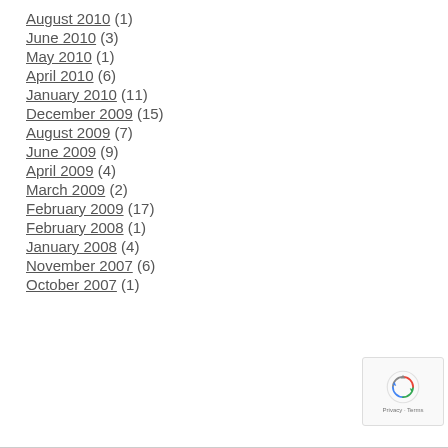August 2010 (1)
June 2010 (3)
May 2010 (1)
April 2010 (6)
January 2010 (11)
December 2009 (15)
August 2009 (7)
June 2009 (9)
April 2009 (4)
March 2009 (2)
February 2009 (17)
February 2008 (1)
January 2008 (4)
November 2007 (6)
October 2007 (1)
[Figure (logo): Google reCAPTCHA badge with recycling arrows icon and Privacy · Terms text]